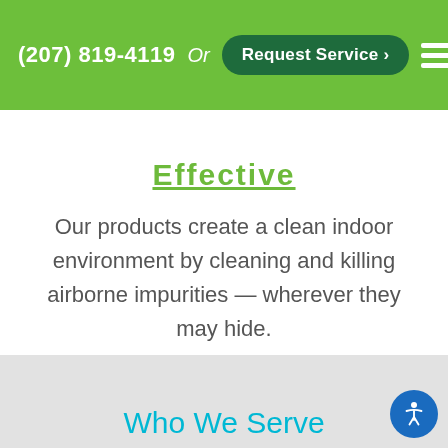(207) 819-4119  Or  Request Service >
Effective
Our products create a clean indoor environment by cleaning and killing airborne impurities — wherever they may hide.
Who We Serve